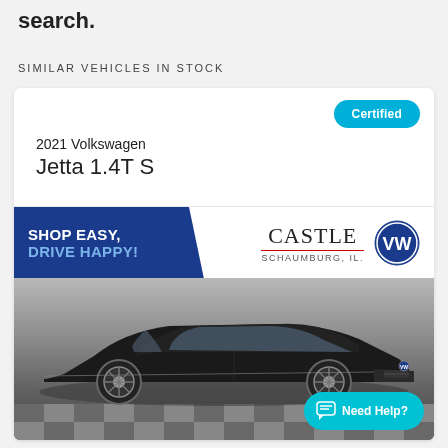search.
SIMILAR VEHICLES IN STOCK
Certified
2021 Volkswagen
Jetta 1.4T S
[Figure (photo): Dealer banner with Castle Volkswagen Schaumburg IL logo and 'Shop Easy, Drive Happy!' slogan, followed by a black 2021 Volkswagen Jetta sedan on a checkered floor.]
Need Help?